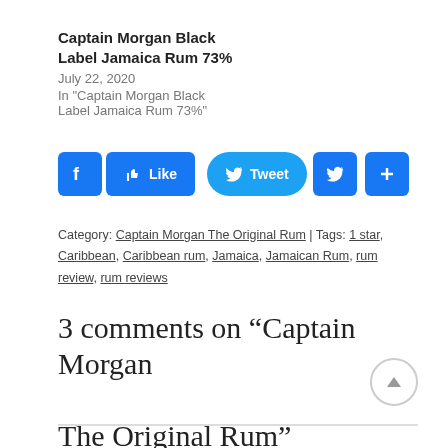Captain Morgan Black Label Jamaica Rum 73%
July 22, 2020
In "Captain Morgan Black Label Jamaica Rum 73%"
[Figure (other): Social media sharing buttons: Facebook icon, Like button, Tweet button, Twitter icon, Share plus button]
Category: Captain Morgan The Original Rum | Tags: 1 star, Caribbean, Caribbean rum, Jamaica, Jamaican Rum, rum review, rum reviews
3 comments on “Captain Morgan The Original Rum”